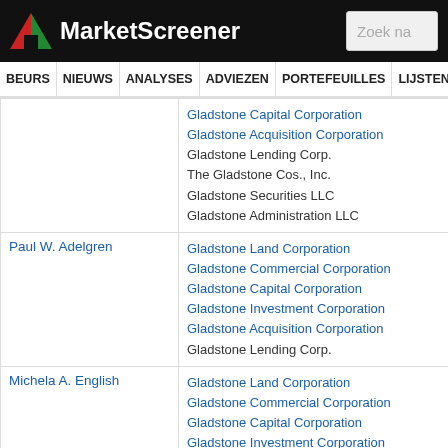MarketScreener
|  |  |
| --- | --- |
|  | Gladstone Capital Corporation
Gladstone Acquisition Corporation
Gladstone Lending Corp.
The Gladstone Cos., Inc.
Gladstone Securities LLC
Gladstone Administration LLC |
| Paul W. Adelgren | Gladstone Land Corporation
Gladstone Commercial Corporation
Gladstone Capital Corporation
Gladstone Investment Corporation
Gladstone Acquisition Corporation
Gladstone Lending Corp. |
| Michela A. English | Gladstone Land Corporation
Gladstone Commercial Corporation
Gladstone Capital Corporation
Gladstone Investment Corporation
Gladstone Acquisition Corporation
Gladstone Lending Corp. |
| John H. Outland | Gladstone Land Corporation
Gladstone Commercial Corporation
Gladstone Capital Corporation
Gladstone Investment Corporation
Gladstone Acquisition Corporation
Gladstone Lending Corp. |